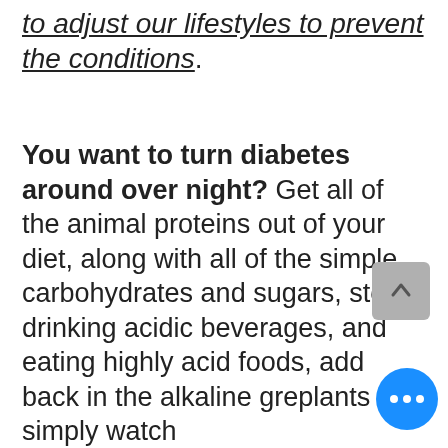to adjust our lifestyles to prevent the conditions.
You want to turn diabetes around over night? Get all of the animal proteins out of your diet, along with all of the simple carbohydrates and sugars, stop drinking acidic beverages, and eating highly acid foods, add back in the alkaline gre… plants and simply watch